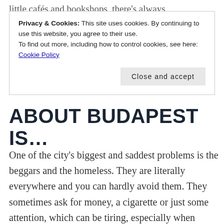little cafés and bookshops, there's always
Privacy & Cookies: This site uses cookies. By continuing to use this website, you agree to their use.
To find out more, including how to control cookies, see here:
Cookie Policy
Close and accept
ABOUT BUDAPEST IS...
One of the city's biggest and saddest problems is the beggars and the homeless. They are literally everywhere and you can hardly avoid them. They sometimes ask for money, a cigarette or just some attention, which can be tiring, especially when you're in a hurry.